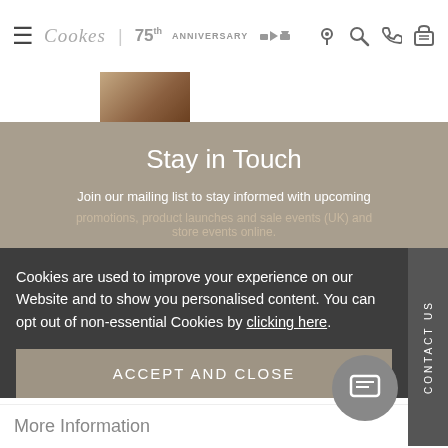Cookes | 75th Anniversary
[Figure (photo): Partial thumbnail image of a person or product in warm brown tones]
Stay in Touch
Join our mailing list to stay informed with upcoming promotions, product launches and sale events (UK) and store events online.
Cookies are used to improve your experience on our Website and to show you personalised content. You can opt out of non-essential Cookies by clicking here.
ACCEPT AND CLOSE
CONTACT US
More Information